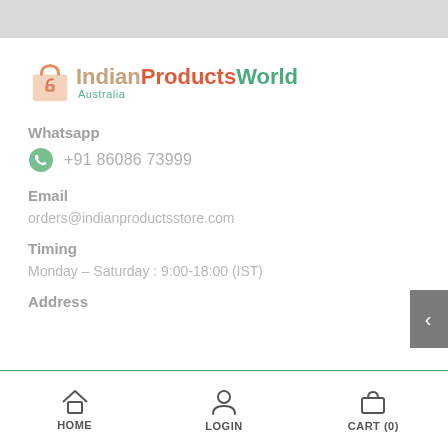[Figure (logo): IndianProductsWorld Australia logo with shopping bag icon]
Whatsapp
+91 86086 73999
Email
orders@indianproductsstore.com
Timing
Monday – Saturday : 9:00-18:00 (IST)
Address
HOME   LOGIN   CART (0)